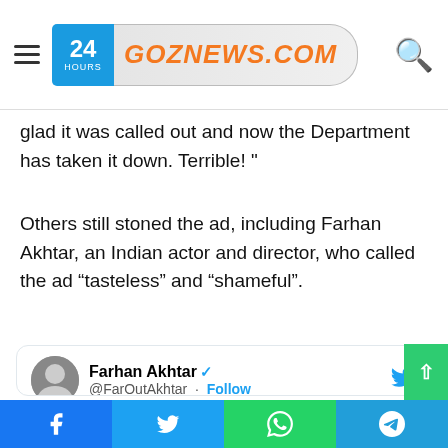GOZNEWS.COM
glad it was called out and now the Department has taken it down. Terrible! "
Others still stoned the ad, including Farhan Akhtar, an Indian actor and director, who called the ad “tasteless” and “shameful”.
[Figure (screenshot): Tweet from @FarOutAkhtar (Farhan Akhtar, verified) reading: What incredibly tasteless and twisted minds it must take to think up, approve and create these stinking body spray ‘gang rape’ innuendo ads..!! Shameful.]
Facebook | Twitter | WhatsApp | Telegram share buttons